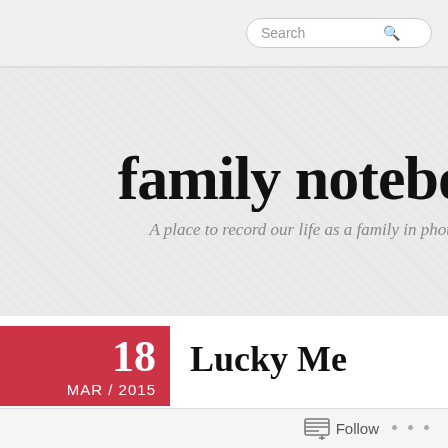Search
family notebo
A place to record our life as a family in photog
18 MAR / 2015
Lucky Me
After the fever I had this past weekend and finishing another ten parent conferences today. I had been feeling
Follow ...